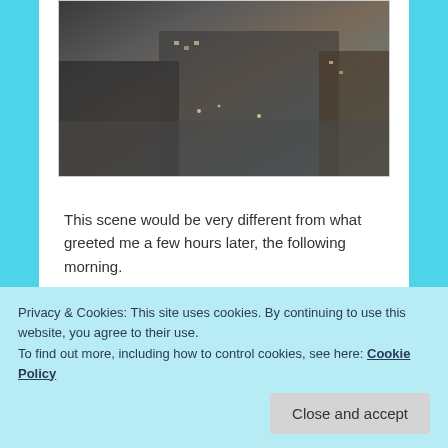[Figure (photo): Aerial or elevated view of an urban street scene with buildings, a parking lot, and street intersection, taken at night or in low light]
This scene would be very different from what greeted me a few hours later, the following morning.
[Figure (photo): Foggy or overcast morning view of the same urban area, with very low visibility and pale grey-green sky]
Privacy & Cookies: This site uses cookies. By continuing to use this website, you agree to their use.
To find out more, including how to control cookies, see here: Cookie Policy